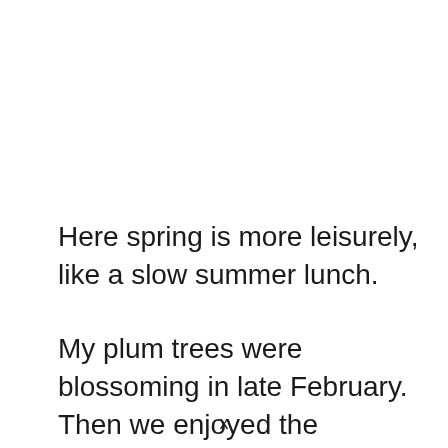Here spring is more leisurely, like a slow summer lunch.
My plum trees were blossoming in late February. Then we enjoyed the daffodils for a few weeks, followed by the hyacinths
x